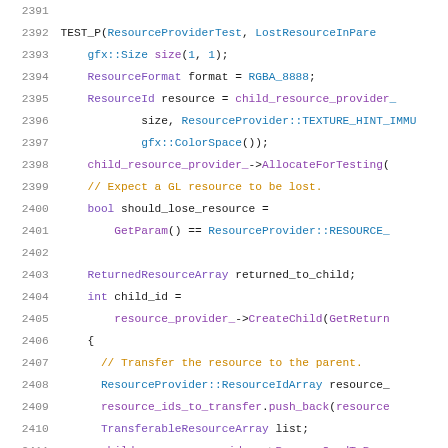[Figure (screenshot): Source code listing in C++ showing lines 2391-2412 of a resource provider test file, with syntax highlighting. Line numbers in gray on left, keywords in purple, namespace calls in blue, comments in orange/gold, identifiers in dark text.]